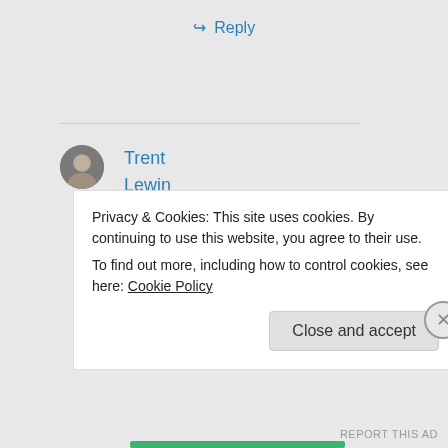↪ Reply
Trent Lewin on February 27, 2014 at 6:08 am
Privacy & Cookies: This site uses cookies. By continuing to use this website, you agree to their use.
To find out more, including how to control cookies, see here: Cookie Policy
Close and accept